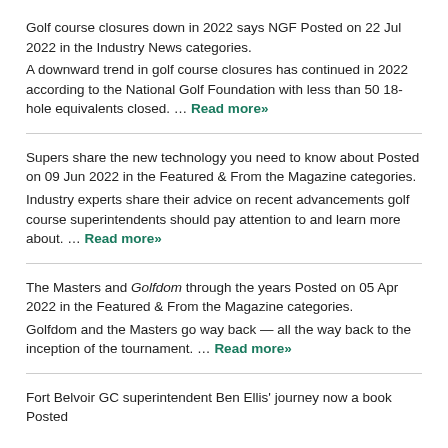Golf course closures down in 2022 says NGF Posted on 22 Jul 2022 in the Industry News categories. A downward trend in golf course closures has continued in 2022 according to the National Golf Foundation with less than 50 18-hole equivalents closed. … Read more»
Supers share the new technology you need to know about Posted on 09 Jun 2022 in the Featured & From the Magazine categories. Industry experts share their advice on recent advancements golf course superintendents should pay attention to and learn more about. … Read more»
The Masters and Golfdom through the years Posted on 05 Apr 2022 in the Featured & From the Magazine categories. Golfdom and the Masters go way back — all the way back to the inception of the tournament. … Read more»
Fort Belvoir GC superintendent Ben Ellis' journey now a book Posted